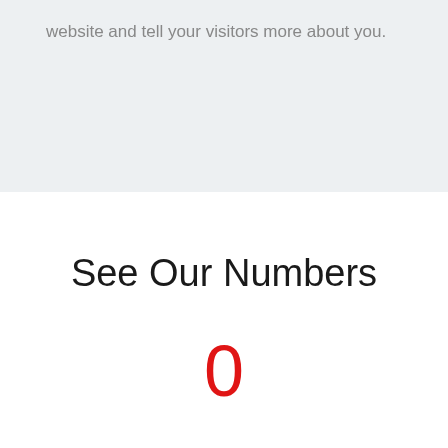website and tell your visitors more about you.
See Our Numbers
0